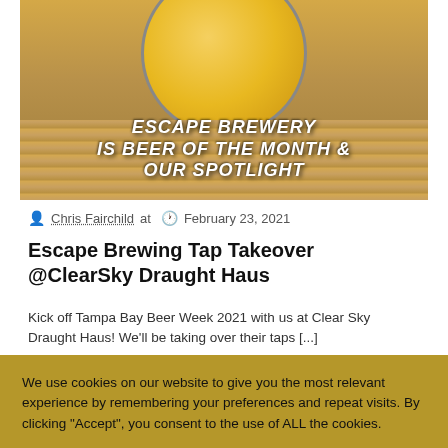[Figure (photo): Photo of a beer glass with golden liquid, placed on a wooden surface. Overlaid bold italic white text reads: ESCAPE BREWERY IS BEER OF THE MONTH & OUR SPOTLIGHT]
Chris Fairchild at  February 23, 2021
Escape Brewing Tap Takeover @ClearSky Draught Haus
Kick off Tampa Bay Beer Week 2021 with us at Clear Sky Draught Haus! We'll be taking over their taps [...]
We use cookies on our website to give you the most relevant experience by remembering your preferences and repeat visits. By clicking “Accept”, you consent to the use of ALL the cookies.
Cookie settings  ACCEPT